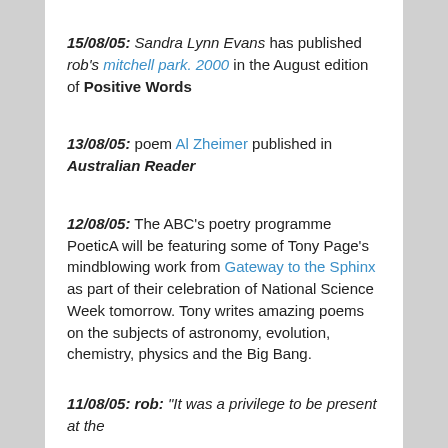15/08/05: Sandra Lynn Evans has published rob's mitchell park. 2000 in the August edition of Positive Words
13/08/05: poem Al Zheimer published in Australian Reader
12/08/05: The ABC's poetry programme PoeticA will be featuring some of Tony Page's mindblowing work from Gateway to the Sphinx as part of their celebration of National Science Week tomorrow. Tony writes amazing poems on the subjects of astronomy, evolution, chemistry, physics and the Big Bang.
11/08/05: rob: "It was a privilege to be present at the